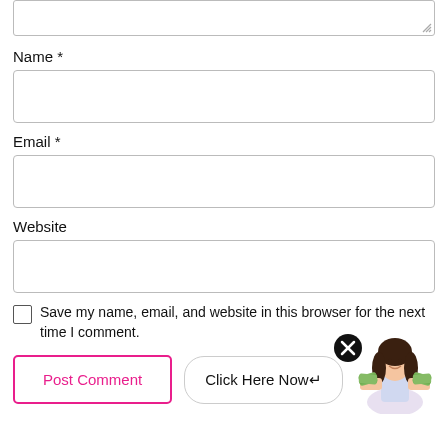[Figure (screenshot): Partial bottom of a textarea input field with resize handle]
Name *
[Figure (screenshot): Text input field for Name]
Email *
[Figure (screenshot): Text input field for Email]
Website
[Figure (screenshot): Text input field for Website]
Save my name, email, and website in this browser for the next time I comment.
[Figure (screenshot): Post Comment button (pink border), Click Here Now button, close X circle icon, and a woman holding money illustration]